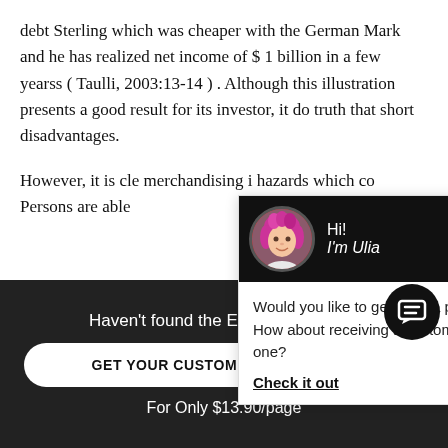debt Sterling which was cheaper with the German Mark and he has realized net income of $ 1 billion in a few yearss ( Taulli, 2003:13-14 ) . Although this illustration presents a good result for its investor, it do... truth that short... disadvantages.
However, it is cle... merchandising i... hazards which co... Persons are able...
[Figure (other): Chat popup overlay with avatar of a woman with pink hair, greeting 'Hi! I'm Ulia', and message 'Would you like to get such a paper? How about receiving a customized one? Check it out']
Haven't found the Essay You Want?
GET YOUR CUSTOM ESSAY SAMPLE
For Only $13.90/page